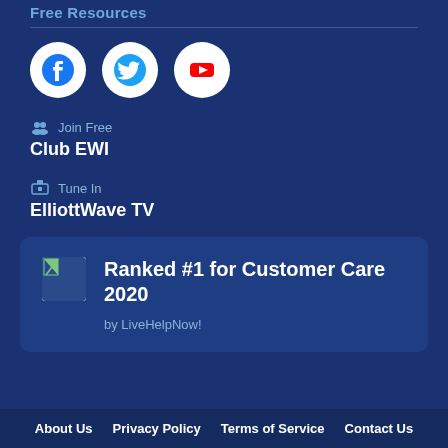Free Resources
[Figure (illustration): Three social media icon circles: Facebook (blue F logo), Twitter (blue bird logo), YouTube (red play button logo), all on white circular backgrounds]
Join Free — Club EWI
Tune In — ElliottWave TV
[Figure (illustration): Award badge image (broken/placeholder image icon) next to text: Ranked #1 for Customer Care 2020 by LiveHelpNow!]
About Us   Privacy Policy   Terms of Service   Contact Us